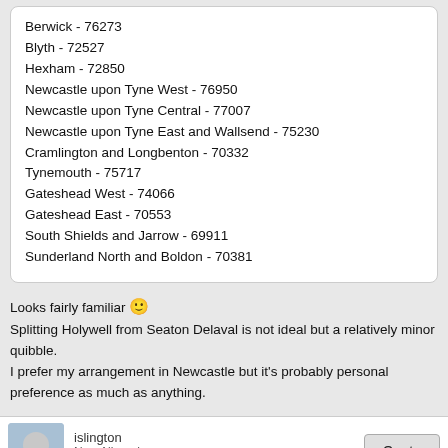Berwick - 76273
Blyth - 72527
Hexham - 72850
Newcastle upon Tyne West - 76950
Newcastle upon Tyne Central - 77007
Newcastle upon Tyne East and Wallsend - 75230
Cramlington and Longbenton - 70332
Tynemouth - 75717
Gateshead West - 74066
Gateshead East - 70553
South Shields and Jarrow - 69911
Sunderland North and Boldon - 70381
Looks fairly familiar 🙂
Splitting Holywell from Seaton Delaval is not ideal but a relatively minor quibble.
I prefer my arrangement in Newcastle but it's probably personal preference as much as anything.
islington
Non-Aligned
Jan 9, 2021 at 9:15pm